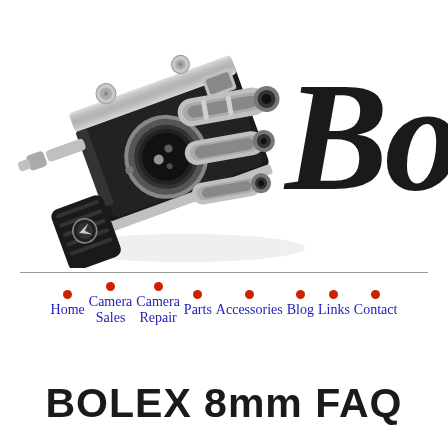[Figure (photo): Bolex 8mm film camera, black and chrome, shown at an angle with three lenses visible, on white background]
Bo
Home | Camera Sales | Camera Repair | Parts | Accessories | Blog | Links | Contact
BOLEX 8mm FAQ